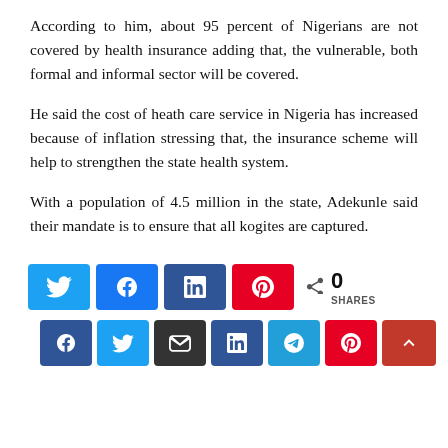According to him, about 95 percent of Nigerians are not covered by health insurance adding that, the vulnerable, both formal and informal sector will be covered.
He said the cost of heath care service in Nigeria has increased because of inflation stressing that, the insurance scheme will help to strengthen the state health system.
With a population of 4.5 million in the state, Adekunle said their mandate is to ensure that all kogites are captured.
[Figure (other): Social sharing buttons row: Twitter (blue), Facebook (blue), LinkedIn (dark blue), Pinterest (red), and a share count showing 0 SHARES]
[Figure (other): Bottom social sharing buttons: Facebook, Twitter, Email, LinkedIn, Telegram, Pinterest, and a red scroll-to-top button with up arrow]